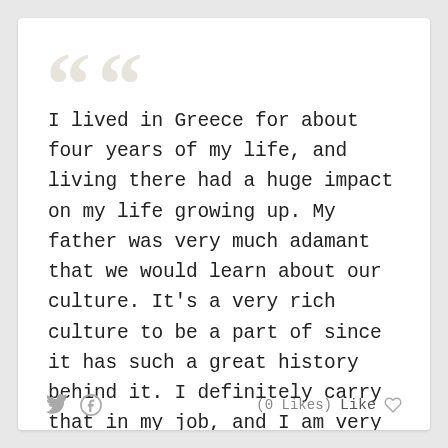I lived in Greece for about four years of my life, and living there had a huge impact on my life growing up. My father was very much adamant that we would learn about our culture. It's a very rich culture to be a part of since it has such a great history behind it. I definitely carry that in my job, and I am very passionate.
— Marina and the Diamonds
Tags: culture, great, history, life
(0 Likes)  Like